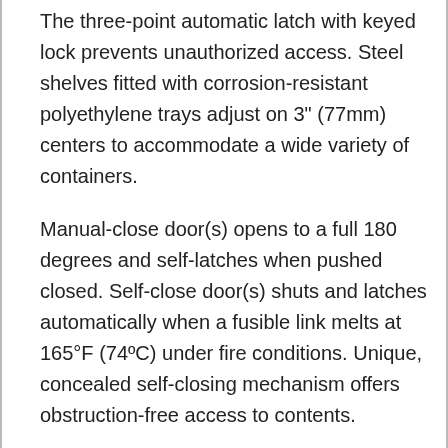The three-point automatic latch with keyed lock prevents unauthorized access. Steel shelves fitted with corrosion-resistant polyethylene trays adjust on 3" (77mm) centers to accommodate a wide variety of containers.
Manual-close door(s) opens to a full 180 degrees and self-latches when pushed closed. Self-close door(s) shuts and latches automatically when a fusible link melts at 165°F (74ºC) under fire conditions. Unique, concealed self-closing mechanism offers obstruction-free access to contents.
All door styles meet OSHA and NFPA 30; self-